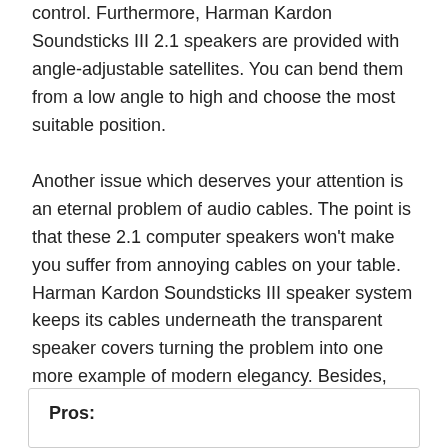control. Furthermore, Harman Kardon Soundsticks III 2.1 speakers are provided with angle-adjustable satellites. You can bend them from a low angle to high and choose the most suitable position.
Another issue which deserves your attention is an eternal problem of audio cables. The point is that these 2.1 computer speakers won't make you suffer from annoying cables on your table. Harman Kardon Soundsticks III speaker system keeps its cables underneath the transparent speaker covers turning the problem into one more example of modern elegancy. Besides, being detachable, they can be easily replaced in case they are damaged.
Pros: